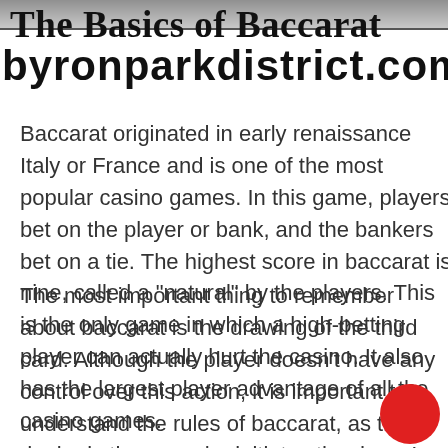[Figure (photo): Dark image strip at top of page, partially visible]
The Basics of Baccarat
byronparkdistrict.com
Baccarat originated in early renaissance Italy or France and is one of the most popular casino games. In this game, players bet on the player or bank, and the bankers bet on a tie. The highest score in baccarat is nine, called a “natural” by the players. This is the only game in which a high-betting player can actually hurt the casino. It also has the largest player advantage of all the casino games.
The most important thing to remember about baccarat is the drawing of the third card. Although the player doesn’t have any control over this action, it is important to understand the rules of baccarat, as the dealer is the one who initiates the draw. In baccarat, the player’s hand total must be